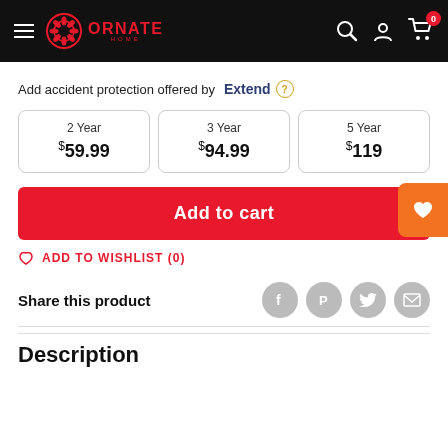[Figure (screenshot): Ornate Home navigation bar with hamburger menu, logo, search icon, account icon, and cart icon with badge showing 0]
Add accident protection offered by Extend (?)
| 2 Year | 3 Year | 5 Year |
| --- | --- | --- |
| $59.99 | $94.99 | $119 |
Add to cart
ADD TO WISHLIST (0)
Share this product
Description